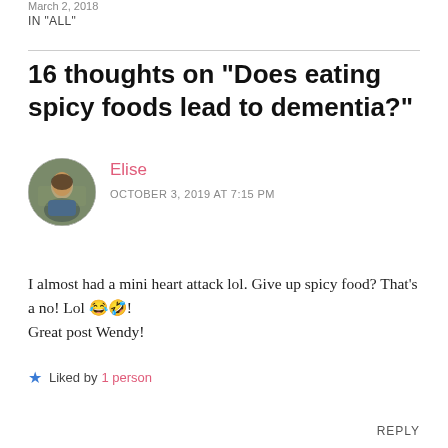March 2, 2018
IN "ALL"
16 thoughts on “Does eating spicy foods lead to dementia?”
[Figure (photo): Circular avatar photo of commenter Elise, a woman standing outdoors]
Elise
OCTOBER 3, 2019 AT 7:15 PM
I almost had a mini heart attack lol. Give up spicy food? That’s a no! Lol 😂🤣!
Great post Wendy!
★ Liked by 1 person
REPLY